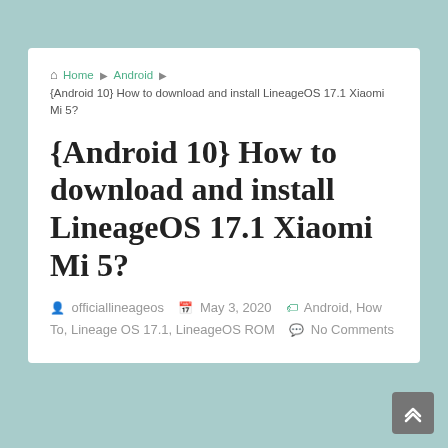Home ▶ Android ▶ {Android 10} How to download and install LineageOS 17.1 Xiaomi Mi 5?
{Android 10} How to download and install LineageOS 17.1 Xiaomi Mi 5?
officiallineageos  May 3, 2020  Android, How To, Lineage OS 17.1, LineageOS ROM  No Comments